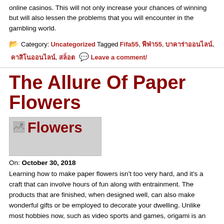online casinos. This will not only increase your chances of winning but will also lessen the problems that you will encounter in the gambling world.
Category: Uncategorized Tagged Fifa55, ฟีฟ่า55, บาคาร่าออนไลน์, คาสิโนออนไลน์, สล็อต Leave a comment/
The Allure Of Paper Flowers
[Figure (photo): Broken image placeholder labeled 'Flowers']
On: October 30, 2018
Learning how to make paper flowers isn't too very hard, and it's a craft that can involve hours of fun along with entrainment. The products that are finished, when designed well, can also make wonderful gifts or be employed to decorate your dwelling. Unlike most hobbies now, such as video sports and games, origami is an activity that's cheap, and will not cause emotional imbalances.
For those who haven't tried making origami designs before, you may possibly well be under the impression that it is likely to be difficult, in actuality, as long as you've got use of suitable guidelines, it's relatively easy to generate a superb assortment of paper flowers. There's a lot of